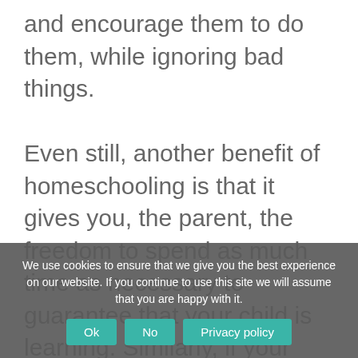and encourage them to do them, while ignoring bad things.
Even still, another benefit of homeschooling is that it gives you, the parent, the freedom to spend as much time as necessary to guarantee that your child is learning. Similarly, if your youngster is ready to move on, there's no need to waste time on teachings that aren't necessary or that are repetitive. In comparison to their peers, homeschooled youngsters are able to move through educational content at a
We use cookies to ensure that we give you the best experience on our website. If you continue to use this site we will assume that you are happy with it.